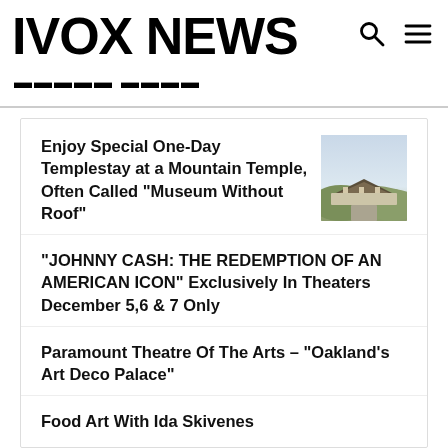IVOX NEWS
Enjoy Special One-Day Templestay at a Mountain Temple, Often Called “Museum Without Roof”
[Figure (photo): A scenic outdoor photo of a mountain temple with traditional Korean rooftops and surrounding hillside.]
“JOHNNY CASH: THE REDEMPTION OF AN AMERICAN ICON” Exclusively In Theaters December 5,6 & 7 Only
Paramount Theatre Of The Arts – “Oakland’s Art Deco Palace”
Food Art With Ida Skivenes